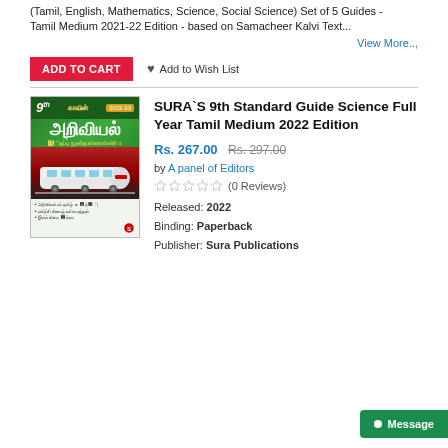(Tamil, English, Mathematics, Science, Social Science) Set of 5 Guides - Tamil Medium 2021-22 Edition - based on Samacheer Kalvi Text...
View More..
ADD TO CART  Add to Wish List
[Figure (photo): Book cover of SURA'S 9th Standard Guide Science Full Year Tamil Medium 2022 Edition, green cover with Tamil text and train image]
SURA`S 9th Standard Guide Science Full Year Tamil Medium 2022 Edition
Rs. 267.00 Rs. 297.00
by A panel of Editors
(0 Reviews)
Released: 2022
Binding: Paperback
Publisher: Sura Publications